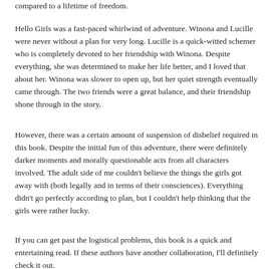compared to a lifetime of freedom.
Hello Girls was a fast-paced whirlwind of adventure. Winona and Lucille were never without a plan for very long. Lucille is a quick-witted schemer who is completely devoted to her friendship with Winona. Despite everything, she was determined to make her life better, and I loved that about her. Winona was slower to open up, but her quiet strength eventually came through. The two friends were a great balance, and their friendship shone through in the story.
However, there was a certain amount of suspension of disbelief required in this book. Despite the initial fun of this adventure, there were definitely darker moments and morally questionable acts from all characters involved. The adult side of me couldn't believe the things the girls got away with (both legally and in terms of their consciences). Everything didn't go perfectly according to plan, but I couldn't help thinking that the girls were rather lucky.
If you can get past the logistical problems, this book is a quick and entertaining read. If these authors have another collaboration, I'll definitely check it out.